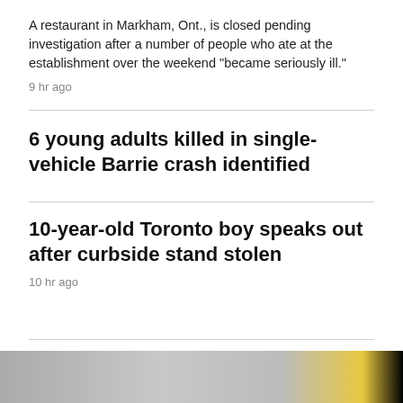A restaurant in Markham, Ont., is closed pending investigation after a number of people who ate at the establishment over the weekend "became seriously ill."
9 hr ago
6 young adults killed in single-vehicle Barrie crash identified
10-year-old Toronto boy speaks out after curbside stand stolen
10 hr ago
MONTREAL >
[Figure (photo): Street scene photo strip at the bottom of the page]